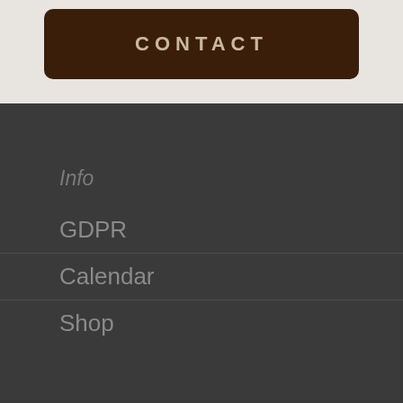CONTACT
Info
GDPR
Calendar
Shop